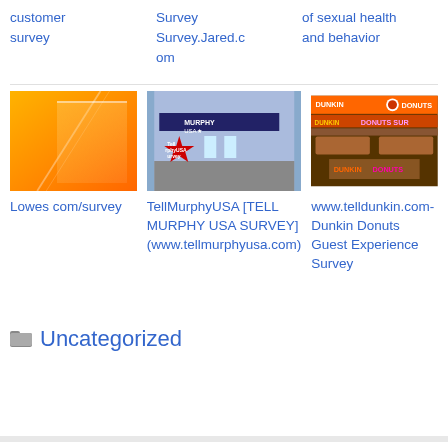customer survey
Survey Survey.Jared.com
of sexual health and behavior
[Figure (photo): Orange gradient image representing Lowes]
Lowes com/survey
[Figure (photo): Murphy USA gas station with red star logo]
TellMurphyUSA [TELL MURPHY USA SURVEY] (www.tellmurphyusa.com)
[Figure (photo): Dunkin Donuts store interior with signage]
www.telldunkin.com-Dunkin Donuts Guest Experience Survey
Uncategorized